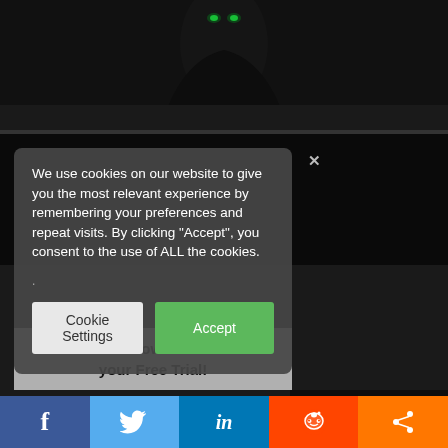[Figure (screenshot): Dark game screenshot background showing a character with glowing green eyes at the top of the page]
We use cookies on our website to give you the most relevant experience by remembering your preferences and repeat visits. By clicking "Accept", you consent to the use of ALL the cookies.
Cookie Settings
Accept
Learn how to Start your Free Trial!
Ed.   Enter your email address
Submit
[Figure (infographic): Social media share bar at bottom with Facebook, Twitter, LinkedIn, Reddit, and share icons]